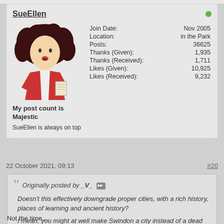SueEllen
[Figure (illustration): Cartoon avatar of a person with curly dark hair wearing a red jacket, holding a piece of paper]
| Field | Value |
| --- | --- |
| Join Date: | Nov 2005 |
| Location: | in the Park |
| Posts: | 36625 |
| Thanks (Given): | 1,935 |
| Thanks (Received): | 1,711 |
| Likes (Given): | 10,925 |
| Likes (Received): | 9,232 |
My post count is Majestic
SueEllen is always on top
22 October 2021, 09:13
#20
Originally posted by _V_
Doesn't this effectively downgrade proper cities, with a rich history, places of learning and ancient history?

I mean, you might at well make Swindon a city instead of a dead end town like southend on sea.
Not the time....